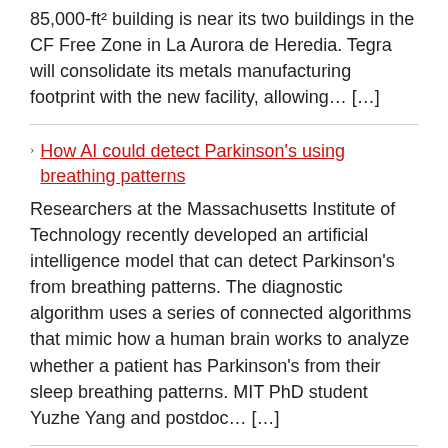85,000-ft² building is near its two buildings in the CF Free Zone in La Aurora de Heredia. Tegra will consolidate its metals manufacturing footprint with the new facility, allowing… […]
How AI could detect Parkinson's using breathing patterns
Researchers at the Massachusetts Institute of Technology recently developed an artificial intelligence model that can detect Parkinson's from breathing patterns. The diagnostic algorithm uses a series of connected algorithms that mimic how a human brain works to analyze whether a patient has Parkinson's from their sleep breathing patterns. MIT PhD student Yuzhe Yang and postdoc… […]
MIT engineers fabricate chip-free, wireless e-skin
MIT engineers have developed a new wireless,